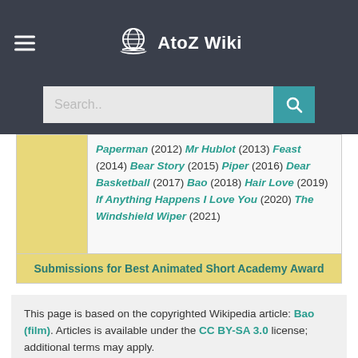AtoZ Wiki
Paperman (2012) Mr Hublot (2013) Feast (2014) Bear Story (2015) Piper (2016) Dear Basketball (2017) Bao (2018) Hair Love (2019) If Anything Happens I Love You (2020) The Windshield Wiper (2021)
Submissions for Best Animated Short Academy Award
This page is based on the copyrighted Wikipedia article: Bao (film). Articles is available under the CC BY-SA 3.0 license; additional terms may apply.